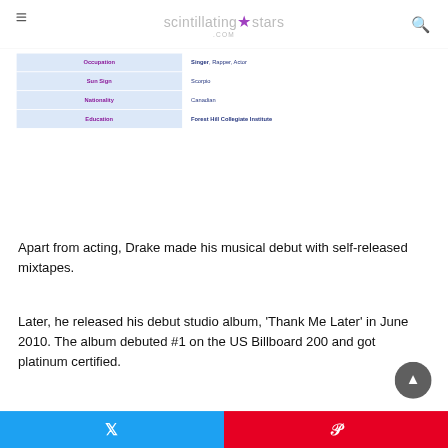scintillating★stars.com
| Field | Value |
| --- | --- |
| Occupation | Singer, Rapper, Actor |
| Sun Sign | Scorpio |
| Nationality | Canadian |
| Education | Forest Hill Collegiate Institute |
Apart from acting, Drake made his musical debut with self-released mixtapes.
Later, he released his debut studio album, 'Thank Me Later' in June 2010. The album debuted #1 on the US Billboard 200 and got platinum certified.
Twitter share | Pinterest share